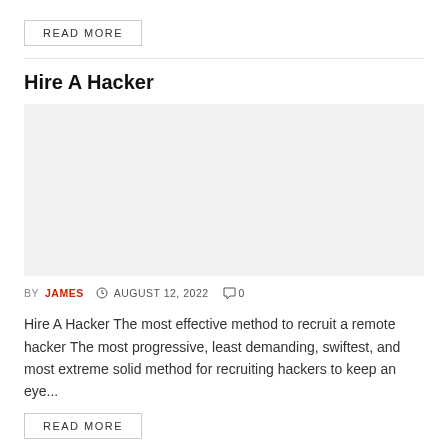READ MORE
Hire A Hacker
[Figure (photo): Gray placeholder image for Hire A Hacker article]
BY JAMES  AUGUST 12, 2022  0
Hire A Hacker The most effective method to recruit a remote hacker The most progressive, least demanding, swiftest, and most extreme solid method for recruiting hackers to keep an eye...
READ MORE